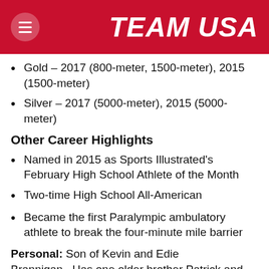TEAM USA
Gold – 2017 (800-meter, 1500-meter), 2015 (1500-meter)
Silver – 2017 (5000-meter), 2015 (5000-meter)
Other Career Highlights
Named in 2015 as Sports Illustrated's February High School Athlete of the Month
Two-time High School All-American
Became the first Paralympic ambulatory athlete to break the four-minute mile barrier
Personal: Son of Kevin and Edie Brannigan...Has one older brother Patrick and one younger brother Thomas...Diagnosed with Autism at the